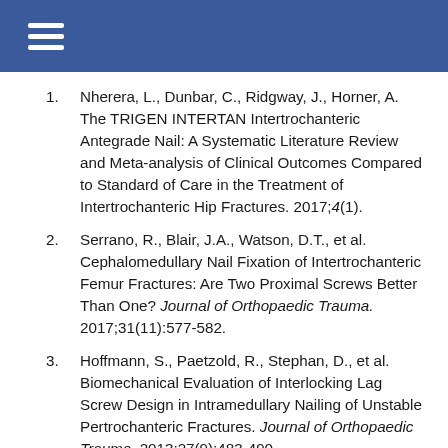Navigation header bar with hamburger menu icon
Nherera, L., Dunbar, C., Ridgway, J., Horner, A. The TRIGEN INTERTAN Intertrochanteric Antegrade Nail: A Systematic Literature Review and Meta-analysis of Clinical Outcomes Compared to Standard of Care in the Treatment of Intertrochanteric Hip Fractures. 2017;4(1).
Serrano, R., Blair, J.A., Watson, D.T., et al. Cephalomedullary Nail Fixation of Intertrochanteric Femur Fractures: Are Two Proximal Screws Better Than One? Journal of Orthopaedic Trauma. 2017;31(11):577-582.
Hoffmann, S., Paetzold, R., Stephan, D., et al. Biomechanical Evaluation of Interlocking Lag Screw Design in Intramedullary Nailing of Unstable Pertrochanteric Fractures. Journal of Orthopaedic Trauma. 2013;27(9):483-490.
Santoni, B.G., Novak, A.N., Cooper, S.A., et al.